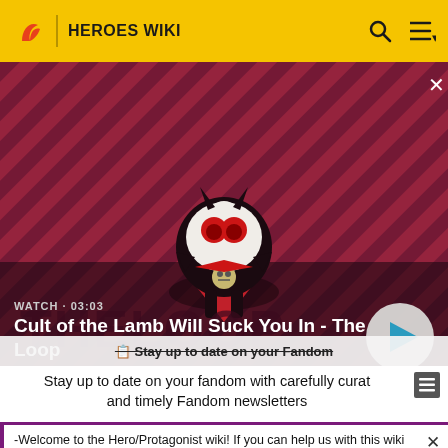HEROES WIKI
[Figure (screenshot): Cult of the Lamb character on striped red/dark background video thumbnail with play button. Text shows WATCH · 03:03 and title 'Cult of the Lamb Will Suck You In - The Loop']
Stay up to date on your fandom with carefully curat and timely Fandom newsletters
-Welcome to the Hero/Protagonist wiki! If you can help us with this wiki please sign up and help us! Thanks! -M-NUva